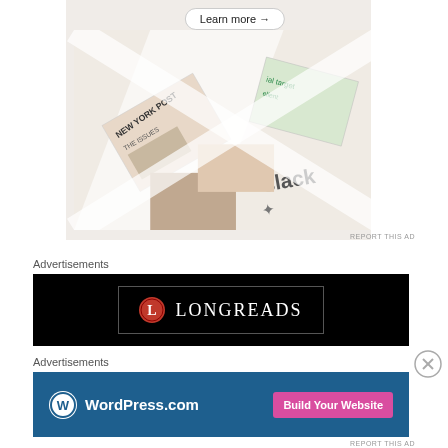[Figure (screenshot): Top advertisement area showing a collage of newspaper/magazine covers and Slack branding with a 'Learn more' button]
REPORT THIS AD
Advertisements
[Figure (logo): Longreads advertisement on black background with red L logo icon and LONGREADS text in white serif font]
Advertisements
[Figure (screenshot): WordPress.com advertisement on blue background with WordPress logo and 'Build Your Website' pink button]
REPORT THIS AD